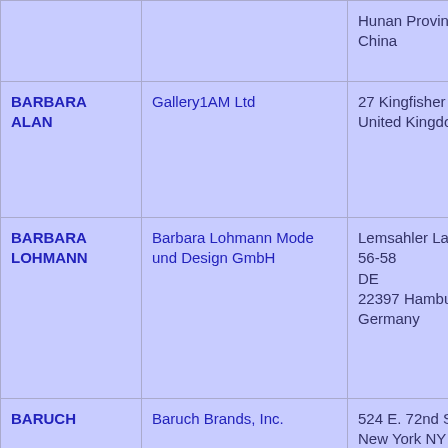| Name | Company | Address | Goods |
| --- | --- | --- | --- |
|  |  | Hunan Province
China |  |
| BARBARA ALAN | Gallery1AM Ltd | 27 Kingfisher DriveGB
United Kingdom | Wom cloth bathi leggi pyja |
| BARBARA LOHMANN | Barbara Lohmann Mode und Design GmbH | Lemsahler Landstraße 56-58
DE
22397 Hamburg
Germany | cloth asco robe slipp |
| BARUCH | Baruch Brands, Inc. | 524 E. 72nd Street #38C
New York NY 10021 | Men' wom child cloth band |
| BARUCH | Baruch Brands, Inc. | 524 E. 72nd | Men |